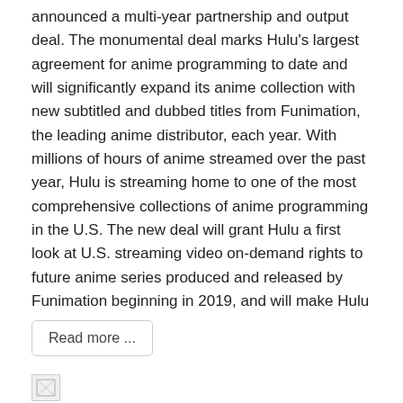announced a multi-year partnership and output deal. The monumental deal marks Hulu's largest agreement for anime programming to date and will significantly expand its anime collection with new subtitled and dubbed titles from Funimation, the leading anime distributor, each year. With millions of hours of anime streamed over the past year, Hulu is streaming home to one of the most comprehensive collections of anime programming in the U.S. The new deal will grant Hulu a first look at U.S. streaming video on-demand rights to future anime series produced and released by Funimation beginning in 2019, and will make Hulu
Read more ...
[Figure (other): Broken/missing image placeholder]
ANIME - ANIMATION   NOVEMBER 21ST, 2018
'I want to eat your pancreas'